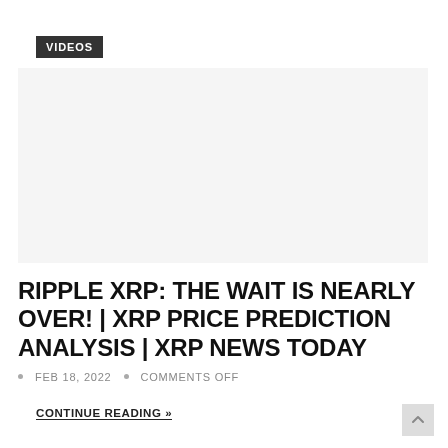VIDEOS
[Figure (other): Video thumbnail placeholder — blank/light gray rectangle]
RIPPLE XRP: THE WAIT IS NEARLY OVER! | XRP PRICE PREDICTION ANALYSIS | XRP NEWS TODAY
FEB 18, 2022  •  COMMENTS OFF
CONTINUE READING »